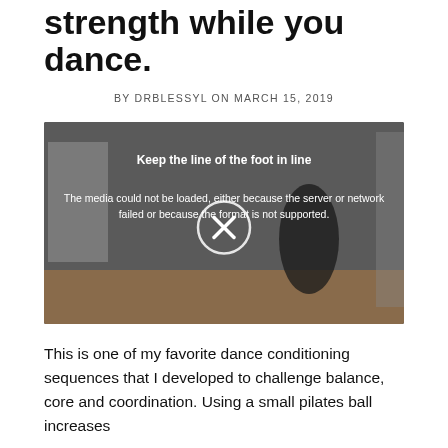strength while you dance.
BY DRBLESSYL ON MARCH 15, 2019
[Figure (screenshot): Video player showing a dancer in a lunge position with a pilates ball. Overlay text reads 'Keep the line of the foot in line' and an error message 'The media could not be loaded, either because the server or network failed or because the format is not supported.' A circular X button is shown in the center.]
This is one of my favorite dance conditioning sequences that I developed to challenge balance, core and coordination. Using a small pilates ball increases